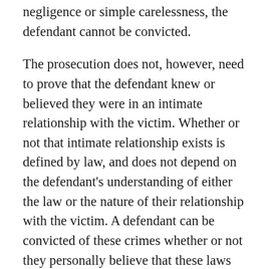negligence or simple carelessness, the defendant cannot be convicted.
The prosecution does not, however, need to prove that the defendant knew or believed they were in an intimate relationship with the victim. Whether or not that intimate relationship exists is defined by law, and does not depend on the defendant's understanding of either the law or the nature of their relationship with the victim. A defendant can be convicted of these crimes whether or not they personally believe that these laws apply to them.
Penalties:
The crime of spousal abuse under section 243(e)(1) is a misdemeanor, whereas a violation of section 273.5